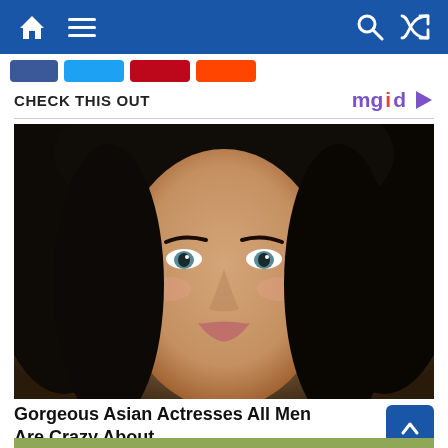Navigation bar with home, menu, search, and shuffle icons
CHECK THIS OUT
[Figure (photo): Portrait photo of a young woman with long dark hair, blue/green eyes, wearing natural makeup, smiling slightly toward the camera against a warm background.]
Gorgeous Asian Actresses All Men Are Crazy About
BRAINBERRIES